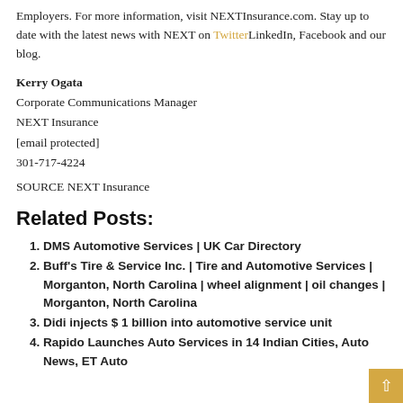Employers. For more information, visit NEXTInsurance.com. Stay up to date with the latest news with NEXT on Twitter LinkedIn, Facebook and our blog.
Kerry Ogata
Corporate Communications Manager
NEXT Insurance
[email protected]
301-717-4224
SOURCE NEXT Insurance
Related Posts:
DMS Automotive Services | UK Car Directory
Buff's Tire & Service Inc. | Tire and Automotive Services | Morganton, North Carolina | wheel alignment | oil changes | Morganton, North Carolina
Didi injects $ 1 billion into automotive service unit
Rapido Launches Auto Services in 14 Indian Cities, Auto News, ET Auto